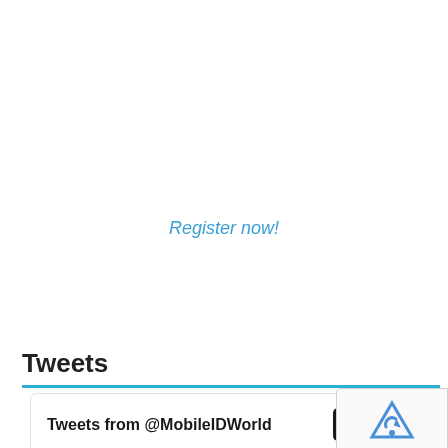Register now!
Tweets
Tweets from @MobileIDWorld
[Figure (screenshot): reCAPTCHA badge with Privacy - Terms text]